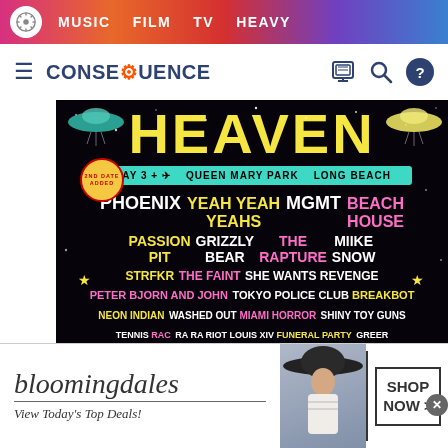MUSIC  FILM  TV  HEAVY
CONSEQUENCE
[Figure (infographic): Festival poster for HEAVEN at Queen Mary Park, Long Beach, May 3. Headliners: PHOENIX, YEAH YEAH YEAHS, MGMT, BEACH HOUSE. Also featuring: PASSION PIT, GRIZZLY BEAR, THE RAPTURE, MIIKE SNOW, STRFKR, THE FAINT, SHE WANTS REVENGE, PETER BJORN AND JOHN, TOKYO POLICE CLUB, BREAKBOT, NEON INDIAN, WASHED OUT, MIAMI HORROR, SHINY TOY GUNS, TENNIS, RAC, RA RA RIOT, LOUIS XIV, FUNERAL PARTY, GREER. Black background with stars, UFO and colorful text.]
[Figure (infographic): Bloomingdales advertisement. Text: bloomingdales, View Today's Top Deals!, SHOP NOW >. Features woman in wide-brim hat.]